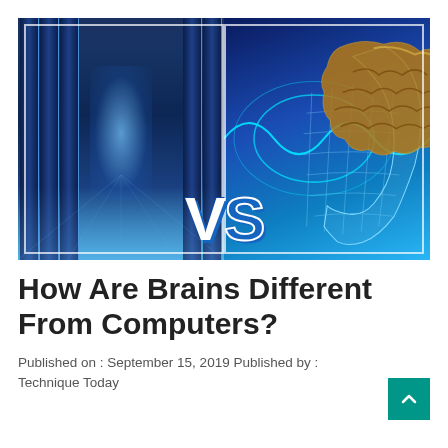[Figure (illustration): Split image showing a server room on the left and a human head with a glowing brain on the right, with 'VS' text overlaid in the center bottom.]
How Are Brains Different From Computers?
Published on : September 15, 2019 Published by : Technique Today